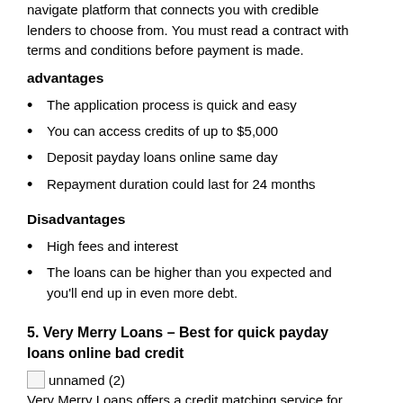navigate platform that connects you with credible lenders to choose from. You must read a contract with terms and conditions before payment is made.
advantages
The application process is quick and easy
You can access credits of up to $5,000
Deposit payday loans online same day
Repayment duration could last for 24 months
Disadvantages
High fees and interest
The loans can be higher than you expected and you'll end up in even more debt.
5. Very Merry Loans – Best for quick payday loans online bad credit
[Figure (photo): unnamed (2) image placeholder]
Very Merry Loans offers a credit matching service for quick online payday loans with bad credit. It is a